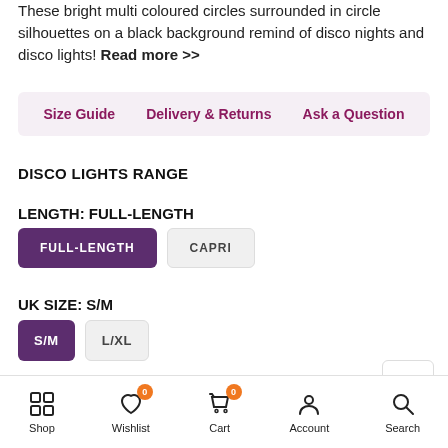These bright multi coloured circles surrounded in circle silhouettes on a black background remind of disco nights and disco lights! Read more >>
Size Guide
Delivery & Returns
Ask a Question
DISCO LIGHTS RANGE
LENGTH: FULL-LENGTH
FULL-LENGTH  CAPRI
UK SIZE: S/M
S/M  L/XL
$26.00
Shop  Wishlist  Cart  Account  Search